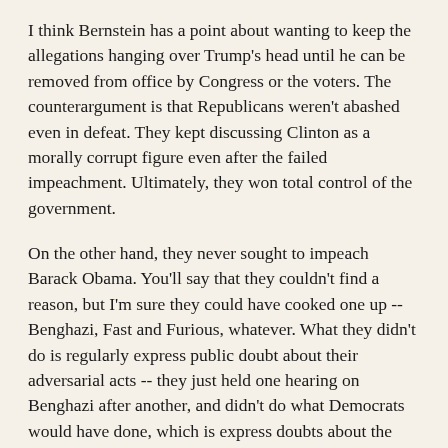I think Bernstein has a point about wanting to keep the allegations hanging over Trump's head until he can be removed from office by Congress or the voters. The counterargument is that Republicans weren't abashed even in defeat. They kept discussing Clinton as a morally corrupt figure even after the failed impeachment. Ultimately, they won total control of the government.
On the other hand, they never sought to impeach Barack Obama. You'll say that they couldn't find a reason, but I'm sure they could have cooked one up -- Benghazi, Fast and Furious, whatever. What they didn't do is regularly express public doubt about their adversarial acts -- they just held one hearing on Benghazi after another, and didn't do what Democrats would have done, which is express doubts about the wisdom of this course of action within range of reporters' microphones.
That's why I find Nancy Pelosi's decision to publicly take impeachment off the table so exasperating. You might come to the conclusion that it's too politically risky -- but don't tell everyone that you're taking the option off the table. Keep Trump off balance. Let him think he's still at risk. Show no self-doubt. Have a little swagger, a little attitude. It always works for the Republicans.